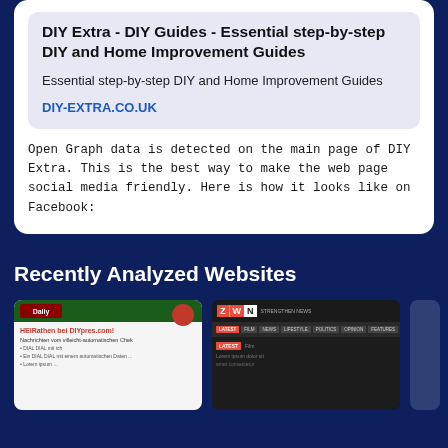DIY Extra - DIY Guides - Essential step-by-step DIY and Home Improvement Guides
Essential step-by-step DIY and Home Improvement Guides
DIY-EXTRA.CO.UK
Open Graph data is detected on the main page of DIY Extra. This is the best way to make the web page social media friendly. Here is how it looks like on Facebook:
Recently Analyzed Websites
[Figure (screenshot): Screenshot thumbnail of a website with dark green header, red logo badge, and article content below]
[Figure (screenshot): Screenshot thumbnail of ZWN (Stengthen News) website with dark background, red and white logo, navigation bar]